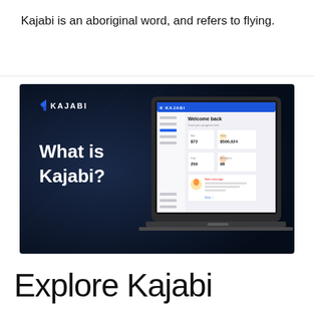Kajabi is an aboriginal word, and refers to flying.
[Figure (screenshot): Dark blue background promotional image showing a laptop screen with Kajabi dashboard. Large white bold text reads 'What is Kajabi?' with Kajabi logo (blue chevron icon and KAJABI text in white) in upper left.]
Explore Kajabi